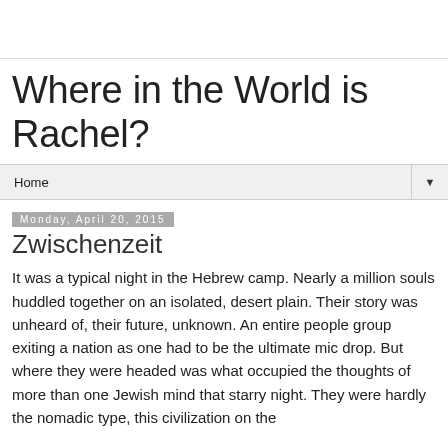Where in the World is Rachel?
Home ▼
Monday, April 20, 2015
Zwischenzeit
It was a typical night in the Hebrew camp. Nearly a million souls huddled together on an isolated, desert plain. Their story was unheard of, their future, unknown. An entire people group exiting a nation as one had to be the ultimate mic drop. But where they were headed was what occupied the thoughts of more than one Jewish mind that starry night. They were hardly the nomadic type, this civilization on the